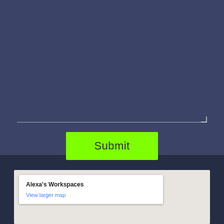[Figure (screenshot): A textarea input field with a bottom border on a dark blue background]
Submit
[Figure (map): A Google Maps embed showing a map card titled Alexa's Workspaces with a View larger map link, on a light beige map background]